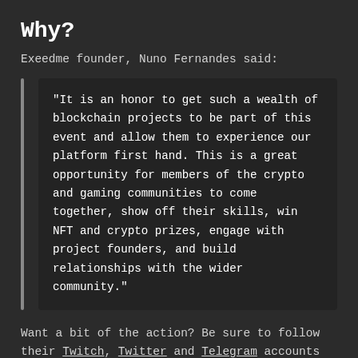Why?
Exeedme founder, Nuno Fernandes said:
“It is an honor to get such a wealth of blockchain projects to be part of this event and allow them to experience our platform first hand. This is a great opportunity for members of the crypto and gaming communities to come together, show off their skills, win NFT and crypto prizes, engage with project founders, and build relationships with the wider community.”
Want a bit of the action? Be sure to follow their Twitch, Twitter and Telegram accounts and keep your eyes peeled for updates.